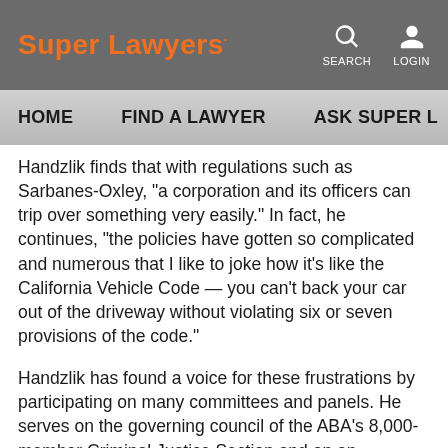Super Lawyers
HOME   FIND A LAWYER   ASK SUPER L...
Handzlik finds that with regulations such as Sarbanes-Oxley, “a corporation and its officers can trip over something very easily.” In fact, he continues, “the policies have gotten so complicated and numerous that I like to joke how it’s like the California Vehicle Code — you can’t back your car out of the driveway without violating six or seven provisions of the code.”
Handzlik has found a voice for these frustrations by participating on many committees and panels. He serves on the governing council of the ABA’s 8,000-member Criminal Justice Section and on an attorney-client privilege task force appointed by ABA president Robert Grey. For Handzlik, not only do these groups fill an important education function for...